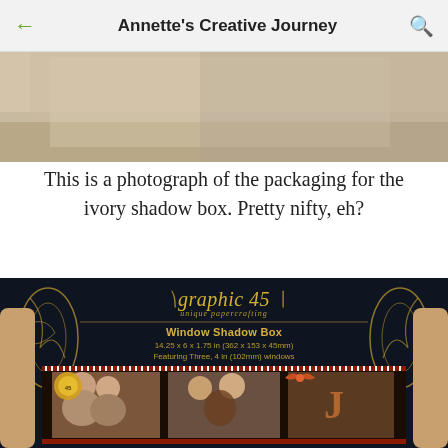Annette's Creative Journey
[Figure (photo): Top portion of a photo (cropped at top), light/neutral tones visible above the text caption]
This is a photograph of the packaging for the ivory shadow box. Pretty nifty, eh?
[Figure (photo): Photo of a person holding up the Graphic 45 Window Shadow Box product packaging. The dark packaging shows the brand name 'graphic 45 unique papercrafting', product title 'Window Shadow Box', dimensions '14.25 x 6 x 1.75 in (362 x 153 x 45mm)', 'Featuring Three, 4 in (102mm) windows', with decorative gold floral designs and a sample project photo strip showing three photo windows with people's photos.]